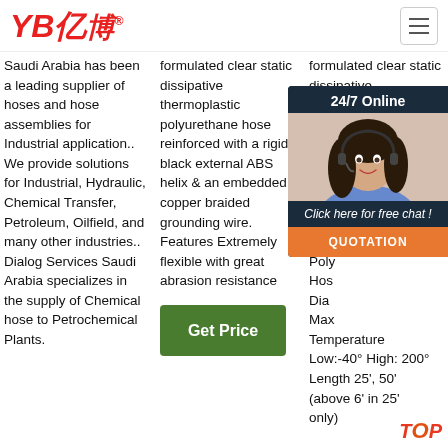YB亿博® [logo] [hamburger menu]
Saudi Arabia has been a leading supplier of hoses and hose assemblies for Industrial application.. We provide solutions for Industrial, Hydraulic, Chemical Transfer, Petroleum, Oilfield, and many other industries.. Dialog Services Saudi Arabia specializes in the supply of Chemical hose to Petrochemical Plants.
formulated clear static dissipative thermoplastic polyurethane hose reinforced with a rigid black external ABS helix & an embedded copper braided grounding wire. Features Extremely flexible with great abrasion resistance
[Figure (other): Green 'Get Price' button]
formulated clear static dissipative very poly poly rein rigid ABS Bra Mat Poly Hos Dia Max Temperature Low:-40° High: 200° Length 25', 50' (above 6' in 25' only)
[Figure (other): 24/7 Online chat widget with customer service representative photo, 'Click here for free chat!' text, and orange QUOTATION button]
TOP